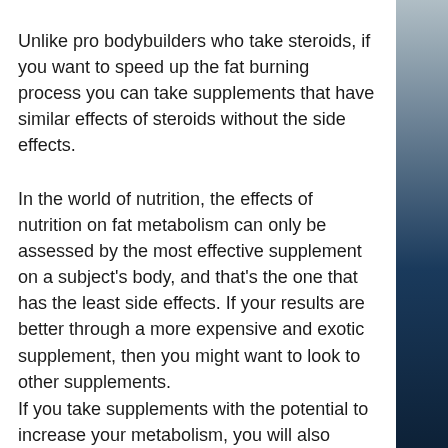Unlike pro bodybuilders who take steroids, if you want to speed up the fat burning process you can take supplements that have similar effects of steroids without the side effects.
In the world of nutrition, the effects of nutrition on fat metabolism can only be assessed by the most effective supplement on a subject's body, and that's the one that has the least side effects. If your results are better through a more expensive and exotic supplement, then you might want to look to other supplements.
If you take supplements with the potential to increase your metabolism, you will also benefit from supplements that have similar effects, for example, those that have a stimulant effect. In this case your results might be better while taking less of the actual